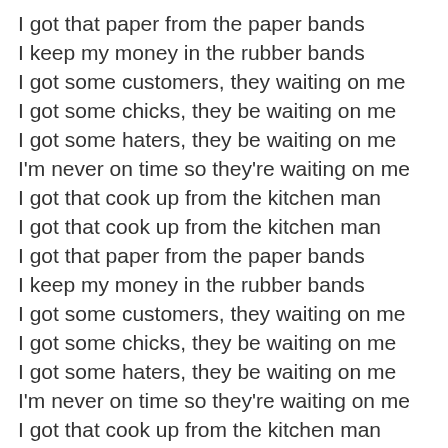I got that paper from the paper bands
I keep my money in the rubber bands
I got some customers, they waiting on me
I got some chicks, they be waiting on me
I got some haters, they be waiting on me
I'm never on time so they're waiting on me
I got that cook up from the kitchen man
I got that cook up from the kitchen man
I got that paper from the paper bands
I keep my money in the rubber bands
I got some customers, they waiting on me
I got some chicks, they be waiting on me
I got some haters, they be waiting on me
I'm never on time so they're waiting on me
I got that cook up from the kitchen man
I got that cook up from the kitchen man
I got that paper from the paper bands